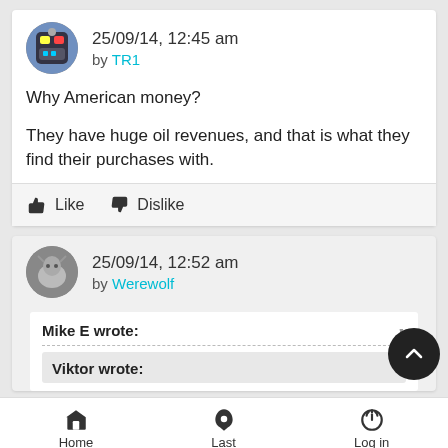25/09/14, 12:45 am
by TR1
Why American money?

They have huge oil revenues, and that is what they find their purchases with.
Like   Dislike
25/09/14, 12:52 am
by Werewolf
Mike E wrote:
Viktor wrote:
Home   Last   Log in